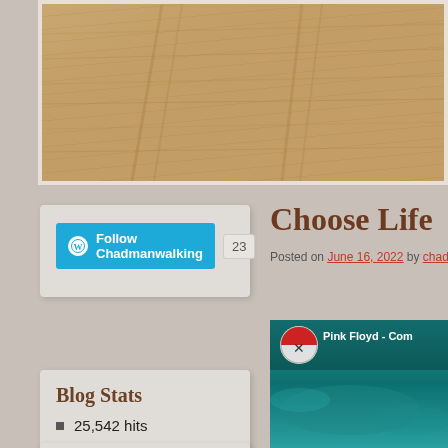[Figure (photo): Sandy/dirt ground texture photo with tire tracks, beige/tan color]
[Figure (screenshot): WordPress Follow Chadmanwalking button with count 23]
Blog Stats
25,542 hits
Next adventure starts
Choose Life
Posted on June 16, 2022 by chadw
[Figure (screenshot): Pink Floyd - Comfortably Numb video thumbnail with teal ocean background and Pink Floyd logo circle icon]